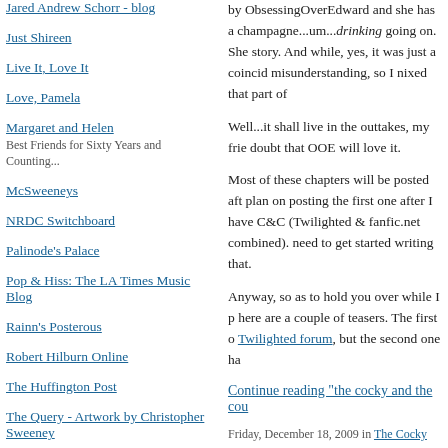Jared Andrew Schorr - blog
Just Shireen
Live It, Love It
Love, Pamela
Margaret and Helen
Best Friends for Sixty Years and Counting...
McSweeneys
NRDC Switchboard
Palinode's Palace
Pop & Hiss: The LA Times Music Blog
Rainn's Posterous
Robert Hilburn Online
The Huffington Post
The Query - Artwork by Christopher Sweeney
Tom Russell: Notes from the Borderland
Tomato Nation
Better red than dead.
by ObsessingOverEdward and she has a champagne...um...drinking going on. She story. And while, yes, it was just a coincidence misunderstanding, so I nixed that part of
Well...it shall live in the outtakes, my frie doubt that OOE will love it.
Most of these chapters will be posted aft plan on posting the first one after I have C&C (Twilighted & fanfic.net combined). need to get started writing that.
Anyway, so as to hold you over while I p here are a couple of teasers. The first o Twilighted forum, but the second one ha
Continue reading "the cocky and the cou
Friday, December 18, 2009 in The Cocky and The Co... TrackBack (0)
WEDNESDAY, DECEMBER 16, 2009
some items of note
Yeah, so hi there. As you can now see, h